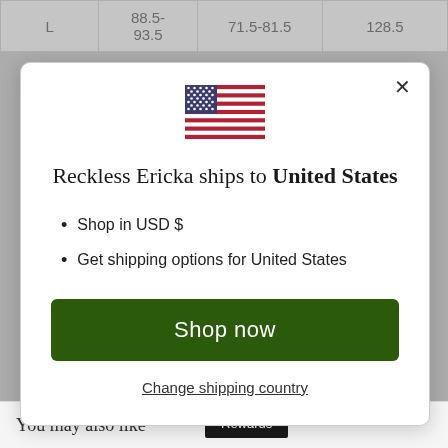|  |  |  |  |
| --- | --- | --- | --- |
| L | 88.5-93.5 | 71.5-81.5 | 128.5 |
[Figure (illustration): US flag emoji icon]
Reckless Ericka ships to United States
Shop in USD $
Get shipping options for United States
Shop now
Change shipping country
You may also like
Rewards